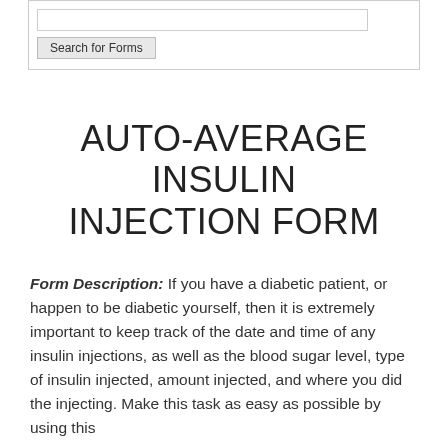[Figure (screenshot): Search for Forms UI widget with text input and button]
AUTO-AVERAGE INSULIN INJECTION FORM
Form Description: If you have a diabetic patient, or happen to be diabetic yourself, then it is extremely important to keep track of the date and time of any insulin injections, as well as the blood sugar level, type of insulin injected, amount injected, and where you did the injecting. Make this task as easy as possible by using this